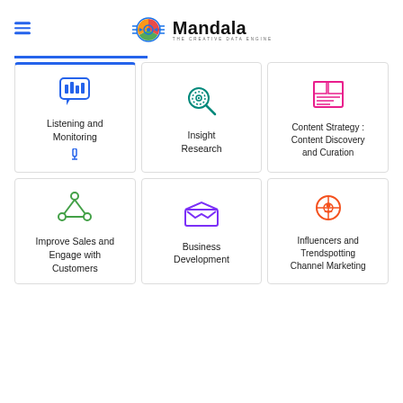[Figure (logo): Mandala - The Creative Data Engine logo with colorful circular icon and text]
[Figure (infographic): 3x2 grid of service cards: Listening and Monitoring, Insight Research, Content Strategy: Content Discovery and Curation, Improve Sales and Engage with Customers, Business Development, Influencers and Trendspotting Channel Marketing]